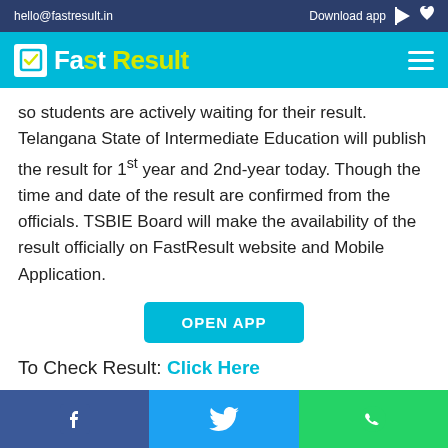hello@fastresult.in  Download app
[Figure (logo): FastResult logo with checkmark icon, white and yellow-green text on cyan background with hamburger menu]
so students are actively waiting for their result. Telangana State of Intermediate Education will publish the result for 1st year and 2nd-year today. Though the time and date of the result are confirmed from the officials. TSBIE Board will make the availability of the result officially on FastResult website and Mobile Application.
OPEN APP
To Check Result: Click Here
Facebook  Twitter  WhatsApp